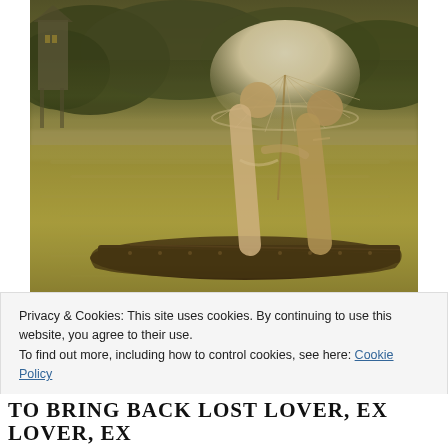[Figure (photo): Sepia-toned romantic photo of a couple (man and woman) sitting close together on a wooden boat on a calm river or lake, with the woman holding a lace parasol umbrella. Trees and misty water in the background, with a pagoda-style structure visible at top left.]
Privacy & Cookies: This site uses cookies. By continuing to use this website, you agree to their use.
To find out more, including how to control cookies, see here: Cookie Policy
Close and accept
TO BRING BACK LOST LOVER, EX LOVER, EX